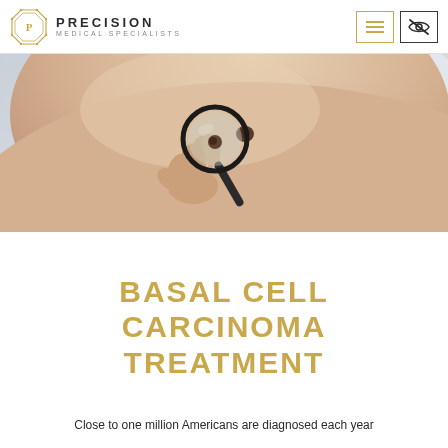PRECISION MEDICAL SPECIALISTS
[Figure (photo): A hand holding a magnifying glass examining a mole or skin lesion on a person's bare back/shoulder area]
BASAL CELL CARCINOMA TREATMENT
Close to one million Americans are diagnosed each year